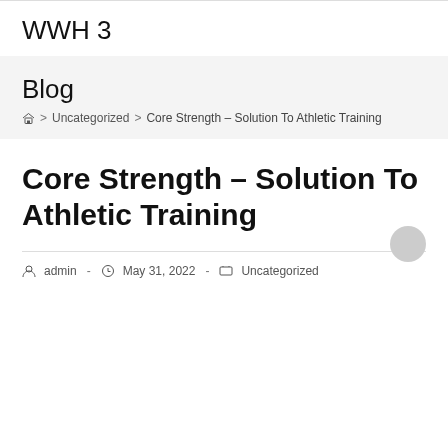WWH 3
Blog
Home > Uncategorized > Core Strength – Solution To Athletic Training
Core Strength – Solution To Athletic Training
admin  -  May 31, 2022  -  Uncategorized